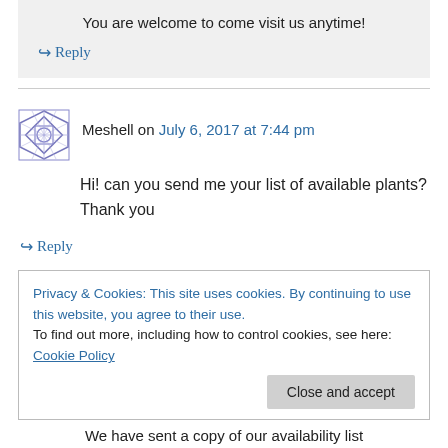You are welcome to come visit us anytime!
↪ Reply
Meshell on July 6, 2017 at 7:44 pm
Hi! can you send me your list of available plants? Thank you
↪ Reply
Privacy & Cookies: This site uses cookies. By continuing to use this website, you agree to their use. To find out more, including how to control cookies, see here: Cookie Policy
Close and accept
We have sent a copy of our availability list